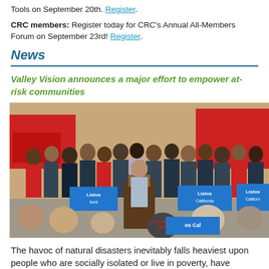Tools on September 20th. Register.
CRC members: Register today for CRC's Annual All-Members Forum on September 23rd! Register.
News
Valley Vision announces a major effort to empower at-risk communities
[Figure (photo): Outdoor press event with a large crowd of people gathered around a podium speaker. Several 'Listos California' blue signs are visible. Red fire trucks in the background. Event appears to be a community emergency preparedness announcement.]
The havoc of natural disasters inevitably falls heaviest upon people who are socially isolated or live in poverty, have language barriers, or other access or